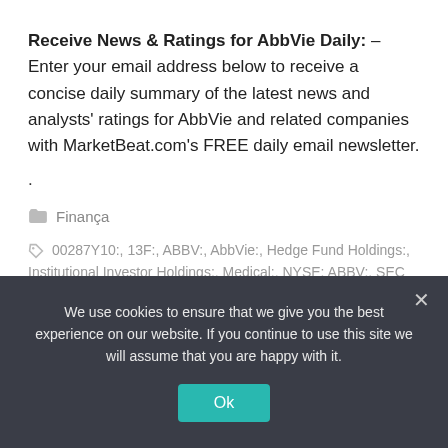Receive News & Ratings for AbbVie Daily: – Enter your email address below to receive a concise daily summary of the latest news and analysts' ratings for AbbVie and related companies with MarketBeat.com's FREE daily email newsletter.
.
Finança
00287Y10:, 13F:, ABBV:, AbbVie:, Hedge Fund Holdings:, Institutional Investor Holdings:, Medical:, NYSE: ABBV:, SEC Filings:
We use cookies to ensure that we give you the best experience on our website. If you continue to use this site we will assume that you are happy with it.